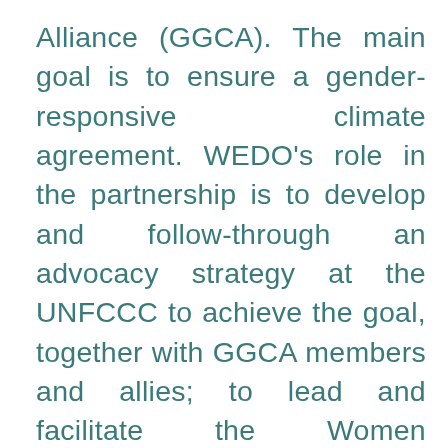Alliance (GGCA). The main goal is to ensure a gender-responsive climate agreement. WEDO's role in the partnership is to develop and follow-through an advocacy strategy at the UNFCCC to achieve the goal, together with GGCA members and allies; to lead and facilitate the Women Delegates Fund, which supports women from the global south to participate on their national delegations; to administer the Secretariat of the GGCA and the alliance activities (the GGCA is not an established organization itself). Project partners IUCN and UNDP support the advocacy, as